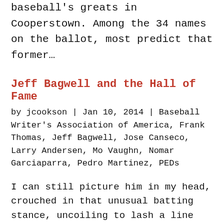baseball's greats in Cooperstown. Among the 34 names on the ballot, most predict that former...
Jeff Bagwell and the Hall of Fame
by jcookson | Jan 10, 2014 | Baseball Writer's Association of America, Frank Thomas, Jeff Bagwell, Jose Canseco, Larry Andersen, Mo Vaughn, Nomar Garciaparra, Pedro Martinez, PEDs
I can still picture him in my head, crouched in that unusual batting stance, uncoiling to lash a line drive into the outfield or drive a ball into the seats. Jeff Bagwell put up tremendous offensive numbers during his 15 year major league career, numbers that should...